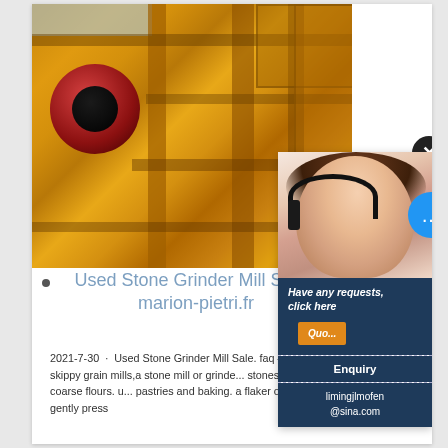[Figure (photo): Yellow industrial stone crusher / grinder mill machine with red flywheel, large steel frame structure outdoors]
[Figure (photo): Customer service woman with headset smiling, with dark blue panel showing 'Have any requests, click here', orange Quote button, Enquiry link, and email limingjlmofen@sina.com]
Used Stone Grinder Mill Sale - marion-pietri.fr
2021-7-30 · Used Stone Grinder Mill Sale. faq – frequently asked questions – skippy grain mills,a stone mill or grinder uses two stones to produce high quality fine to coarse flours. used for breads, pastries and baking. a flaker or oat roller, uses 2 rollers to gently press